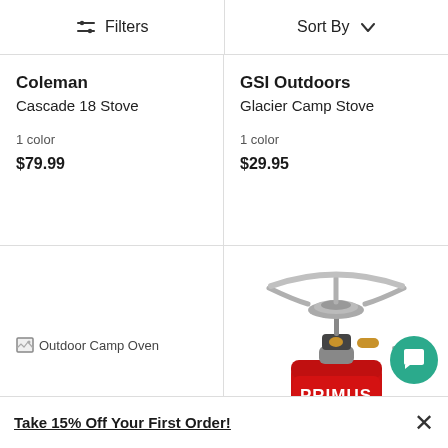Filters  Sort By
Coleman
Cascade 18 Stove
1 color
$79.99
GSI Outdoors
Glacier Camp Stove
1 color
$29.95
[Figure (photo): Broken image placeholder labeled 'Outdoor Camp Oven']
[Figure (photo): Photo of a Primus camping gas stove with red fuel canister and silver burner head]
Take 15% Off Your First Order!